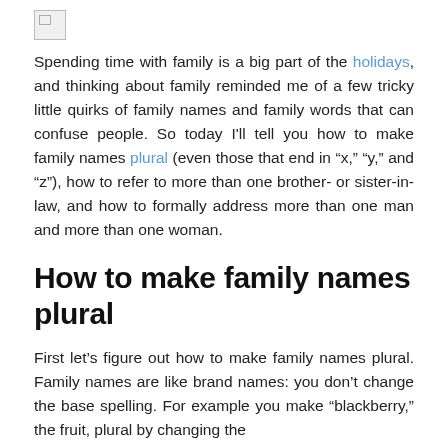[Figure (photo): Small broken image placeholder icon in top left]
Spending time with family is a big part of the holidays, and thinking about family reminded me of a few tricky little quirks of family names and family words that can confuse people. So today I'll tell you how to make family names plural (even those that end in “x,” “y,” and “z”), how to refer to more than one brother- or sister-in-law, and how to formally address more than one man and more than one woman.
How to make family names plural
First let’s figure out how to make family names plural. Family names are like brand names: you don’t change the base spelling. For example you make “blackberry,” the fruit, plural by changing the